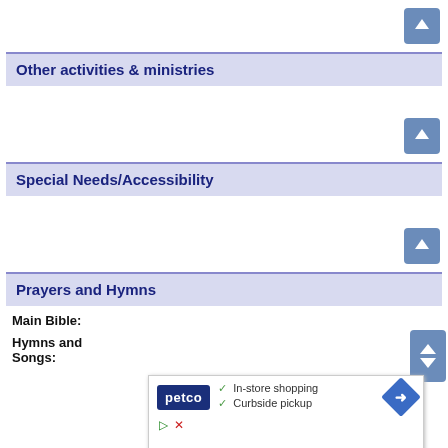[Figure (other): Blue up-arrow navigation button]
Other activities & ministries
[Figure (other): Blue up-arrow navigation button]
Special Needs/Accessibility
[Figure (other): Blue up-arrow navigation button]
Prayers and Hymns
Main Bible:
Hymns and Songs:
[Figure (other): Blue up/down arrow navigation buttons]
[Figure (other): Advertisement: Petco - In-store shopping, Curbside pickup]